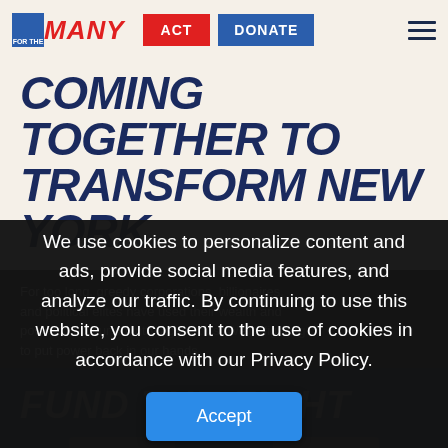[Figure (logo): For The Many logo with blue square containing 'FOR THE' text, red italic 'MANY' text, red 'ACT' button, blue 'DONATE' button, and hamburger menu icon]
COMING TOGETHER TO TRANSFORM NEW YORK.
For too long, greedy corporations, billionaires, and political elites have used their wealth and power to rig our country against us. We're fighting to put power back in our hands.
We use cookies to personalize content and ads, provide social media features, and analyze our traffic. By continuing to use this website, you consent to the use of cookies in accordance with our Privacy Policy.
Accept
FUND THE FIGHT
$3
$18